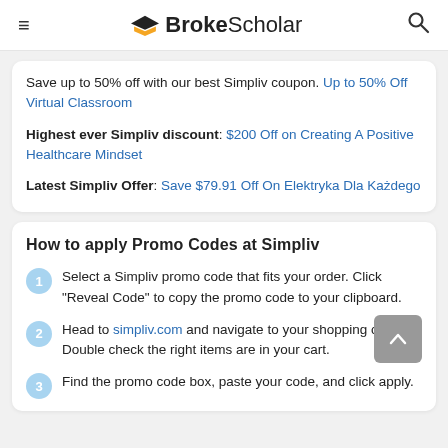BrokeScholar
Save up to 50% off with our best Simpliv coupon. Up to 50% Off Virtual Classroom
Highest ever Simpliv discount: $200 Off on Creating A Positive Healthcare Mindset
Latest Simpliv Offer: Save $79.91 Off On Elektryka Dla Każdego
How to apply Promo Codes at Simpliv
Select a Simpliv promo code that fits your order. Click "Reveal Code" to copy the promo code to your clipboard.
Head to simpliv.com and navigate to your shopping cart. Double check the right items are in your cart.
Find the promo code box, paste your code, and click apply.